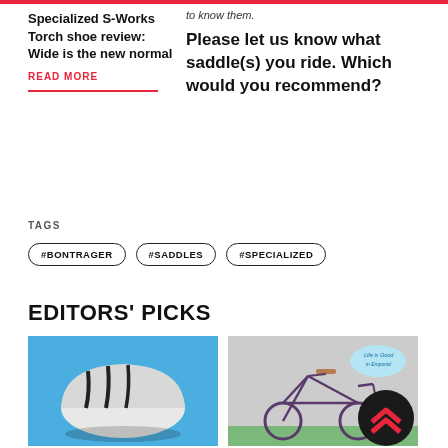to know them.
Specialized S-Works Torch shoe review: Wide is the new normal
READ MORE
Please let us know what saddle(s) you ride. Which would you recommend?
TAGS
#BONTRAGER
#SADDLES
#SPECIALIZED
EDITORS' PICKS
[Figure (photo): White aerodynamic cycling helmet on a blue background]
TECH
[Figure (photo): Purple road bicycle leaning against a wall with a 'Life is Good in Emporia' sign, with a dark circular logo overlay]
TECH